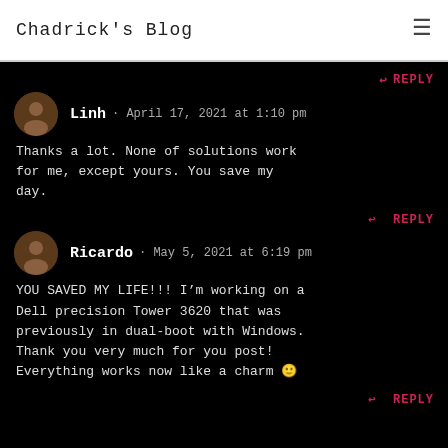Chadrick's Blog
↩ REPLY
Linh · April 17, 2021 at 1:10 pm
Thanks a lot. None of solutions work for me, except yours. You save my day.
↩ REPLY
Ricardo · May 5, 2021 at 6:19 pm
YOU SAVED MY LIFE!!! I'm working on a Dell precision Tower 3620 that was previously in dual-boot with Windows. Thank you very much for you post! Everything works now like a charm 🙂
↩ REPLY